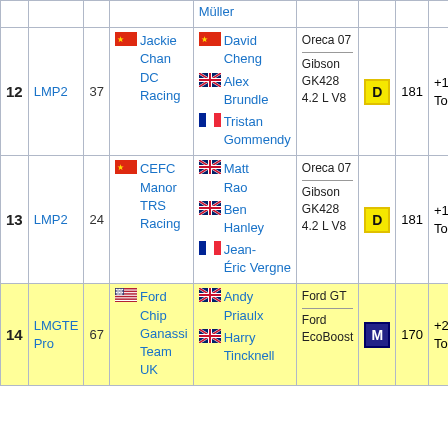| # | Class | No | Team | Drivers | Car | Tyre | Laps | Gap |
| --- | --- | --- | --- | --- | --- | --- | --- | --- |
|  |  |  |  | Müller |  |  |  |  |
| 12 | LMP2 | 37 | Jackie Chan DC Racing | David Cheng / Alex Brundle / Tristan Gommendy | Oreca 07 / Gibson GK428 4.2 L V8 | D | 181 | +14 Tours |
| 13 | LMP2 | 24 | CEFC Manor TRS Racing | Matt Rao / Ben Hanley / Jean-Éric Vergne | Oreca 07 / Gibson GK428 4.2 L V8 | D | 181 | +14 Tours |
| 14 | LMGTE Pro | 67 | Ford Chip Ganassi Team UK | Andy Priaulx / Harry Tincknell | Ford GT / Ford EcoBoost | M | 170 | +25 Tours |